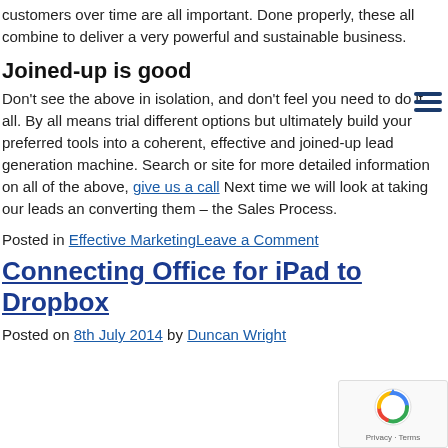customers over time are all important. Done properly, these all combine to deliver a very powerful and sustainable business.
Joined-up is good
Don't see the above in isolation, and don't feel you need to do it all. By all means trial different options but ultimately build your preferred tools into a coherent, effective and joined-up lead generation machine. Search or site for more detailed information on all of the above, give us a call Next time we will look at taking our leads an converting them – the Sales Process.
Posted in Effective MarketingLeave a Comment
Connecting Office for iPad to Dropbox
Posted on 8th July 2014 by Duncan Wright